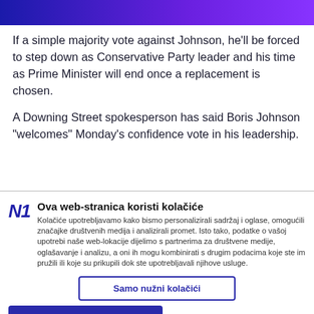If a simple majority vote against Johnson, he'll be forced to step down as Conservative Party leader and his time as Prime Minister will end once a replacement is chosen.
A Downing Street spokesperson has said Boris Johnson "welcomes" Monday's confidence vote in his leadership.
Ova web-stranica koristi kolačiće
Kolačiće upotrebljavamo kako bismo personalizirali sadržaj i oglase, omogućili značajke društvenih medija i analizirali promet. Isto tako, podatke o vašoj upotrebi naše web-lokacije dijelimo s partnerima za društvene medije, oglašavanje i analizu, a oni ih mogu kombinirati s drugim podacima koje ste im pružili ili koje su prikupili dok ste upotrebljavali njihove usluge.
Samo nužni kolačići
Omogući sve kolačiće
Prikaži detalje